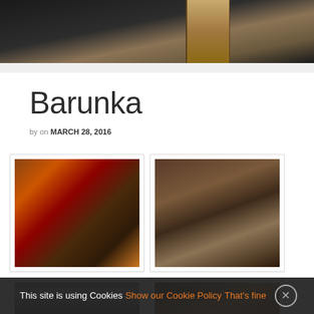[Figure (photo): Header banner photo showing a dark rocky/tree bark texture with warm brown tones on right side]
Barunka
by on MARCH 28, 2016
[Figure (photo): Performance photo showing colorful carnival or stage performers in elaborate costumes]
[Figure (photo): Stage photo showing two performers in a theatrical scene]
[Figure (photo): Partially visible photo bottom left]
[Figure (photo): Partially visible photo bottom right]
This site is using Cookies Show our Cookie Policy That's fine